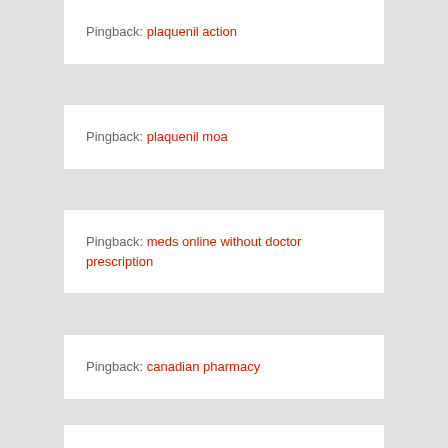Pingback: plaquenil action
Pingback: plaquenil moa
Pingback: meds online without doctor prescription
Pingback: canadian pharmacy